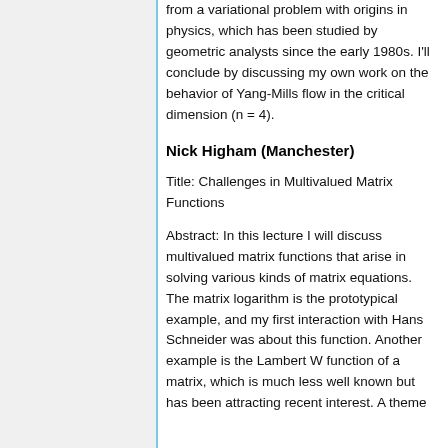from a variational problem with origins in physics, which has been studied by geometric analysts since the early 1980s. I'll conclude by discussing my own work on the behavior of Yang-Mills flow in the critical dimension (n = 4).
Nick Higham (Manchester)
Title: Challenges in Multivalued Matrix Functions
Abstract: In this lecture I will discuss multivalued matrix functions that arise in solving various kinds of matrix equations. The matrix logarithm is the prototypical example, and my first interaction with Hans Schneider was about this function. Another example is the Lambert W function of a matrix, which is much less well known but has been attracting recent interest. A theme